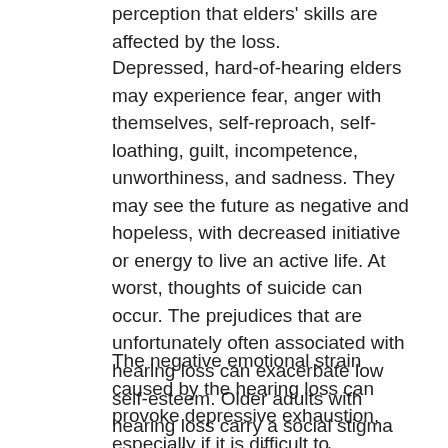perception that elders' skills are affected by the loss.
Depressed, hard-of-hearing elders may experience fear, anger with themselves, self-reproach, self-loathing, guilt, incompetence, unworthiness, and sadness. They may see the future as negative and hopeless, with decreased initiative or energy to live an active life. At worst, thoughts of suicide can occur. The prejudices that are unfortunately often associated with hearing loss can exacerbate low self-esteem. Older adults with hearing loss carry a social stigma as troublesome, slow, and tiresome. If a person who is hard of hearing internalizes such prejudices, self-esteem suffers a severe blow.
The negative emotional strain caused by the hearing loss can provoke depressive exhaustion, especially if it is difficult to implement a solution to functioning in everyday life and validate a perception as being an example of the community. Personal life is...